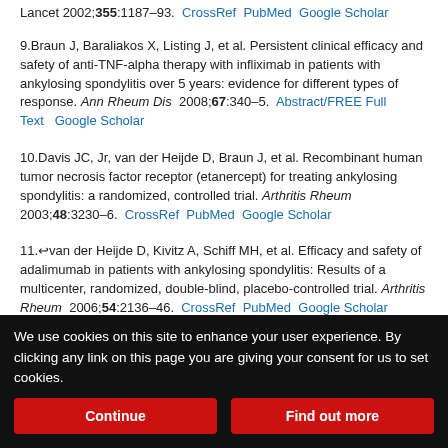Lancet 2002;355:1187–93. CrossRef PubMed Google Scholar
9. Braun J, Baraliakos X, Listing J, et al. Persistent clinical efficacy and safety of anti-TNF-alpha therapy with infliximab in patients with ankylosing spondylitis over 5 years: evidence for different types of response. Ann Rheum Dis 2008;67:340–5. Abstract/FREE Full Text Google Scholar
10. Davis JC, Jr, van der Heijde D, Braun J, et al. Recombinant human tumor necrosis factor receptor (etanercept) for treating ankylosing spondylitis: a randomized, controlled trial. Arthritis Rheum 2003;48:3230–6. CrossRef PubMed Google Scholar
11. van der Heijde D, Kivitz A, Schiff MH, et al. Efficacy and safety of adalimumab in patients with ankylosing spondylitis: Results of a multicenter, randomized, double-blind, placebo-controlled trial. Arthritis Rheum 2006;54:2136–46. CrossRef PubMed Google Scholar
12. Braun J, Baraliakos X, Golder W, et al. Magnetic resonance imaging...
We use cookies on this site to enhance your user experience. By clicking any link on this page you are giving your consent for us to set cookies.